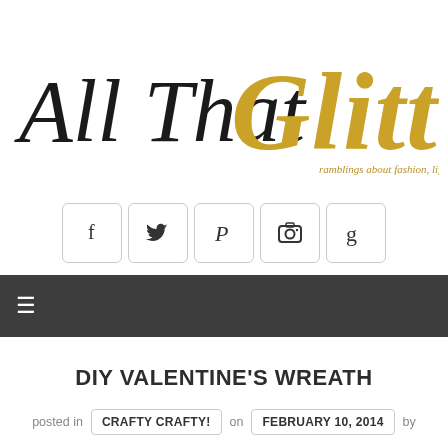[Figure (logo): Blog logo: 'All That Glitters' in cursive/script font with 'Glitters' in gold glitter style. Subtitle reads: 'ramblings about fashion, life, and all that glitters...']
[Figure (infographic): Social media icon buttons: Facebook (f), Twitter (bird), Pinterest (P), Instagram (camera), Google (g) — each in a rounded square border]
[Figure (infographic): Dark gray navigation bar with hamburger menu icon (three horizontal lines)]
DIY VALENTINE'S WREATH
posted in  CRAFTY CRAFTY!  on  FEBRUARY 10, 2014  by